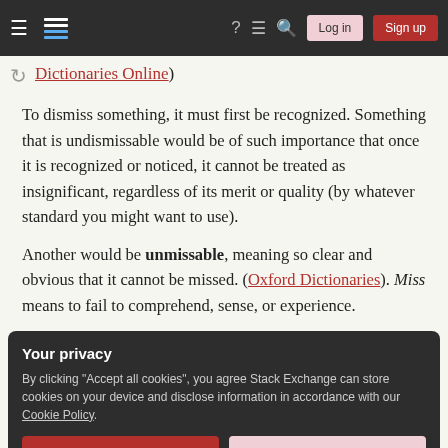Navigation bar with Log in and Sign up buttons
Dictionaries Online)
To dismiss something, it must first be recognized. Something that is undismissable would be of such importance that once it is recognized or noticed, it cannot be treated as insignificant, regardless of its merit or quality (by whatever standard you might want to use).
Another would be unmissable, meaning so clear and obvious that it cannot be missed. (Oxford Dictionaries). Miss means to fail to comprehend, sense, or experience.
Your privacy
By clicking "Accept all cookies", you agree Stack Exchange can store cookies on your device and disclose information in accordance with our Cookie Policy.
Accept all cookies  Customize settings
improve this answer  Canis Lupus  21.9k  2  37  77